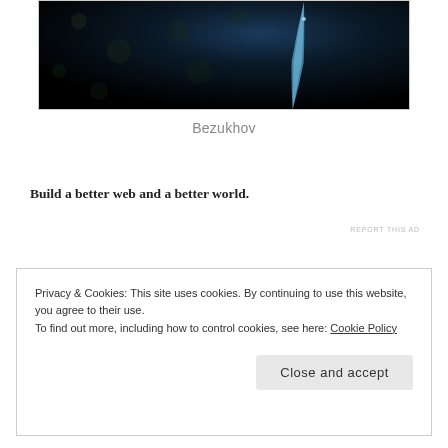[Figure (photo): Dark background photo with a blue/teal diagonal streak or feather-like shape visible on the right side against a black bokeh background]
Bezukhov
Build a better web and a better world.
REPORT THIS AD
Privacy & Cookies: This site uses cookies. By continuing to use this website, you agree to their use.
To find out more, including how to control cookies, see here: Cookie Policy
Close and accept